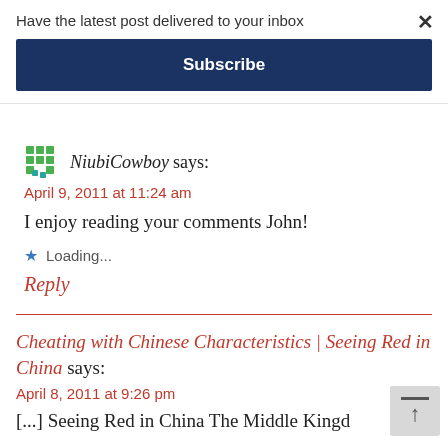Have the latest post delivered to your inbox
× (close button)
Subscribe
NiubiCowboy says:
April 9, 2011 at 11:24 am
I enjoy reading your comments John!
★ Loading...
Reply
Cheating with Chinese Characteristics | Seeing Red in China says:
April 8, 2011 at 9:26 pm
[...] Seeing Red in China The Middle Kingd